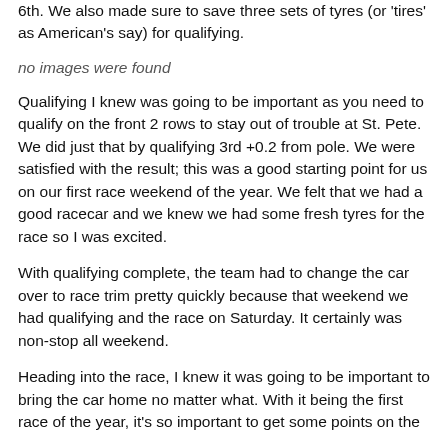6th. We also made sure to save three sets of tyres (or 'tires' as American's say) for qualifying.
no images were found
Qualifying I knew was going to be important as you need to qualify on the front 2 rows to stay out of trouble at St. Pete. We did just that by qualifying 3rd +0.2 from pole. We were satisfied with the result; this was a good starting point for us on our first race weekend of the year. We felt that we had a good racecar and we knew we had some fresh tyres for the race so I was excited.
With qualifying complete, the team had to change the car over to race trim pretty quickly because that weekend we had qualifying and the race on Saturday. It certainly was non-stop all weekend.
Heading into the race, I knew it was going to be important to bring the car home no matter what. With it being the first race of the year, it's so important to get some points on the